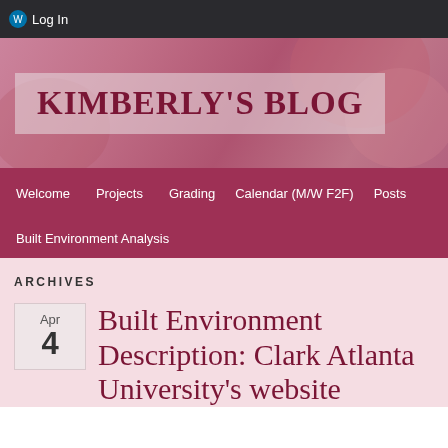Log In
KIMBERLY'S BLOG
Welcome   Projects   Grading   Calendar (M/W F2F)   Posts   Built Environment Analysis
ARCHIVES
Built Environment Description: Clark Atlanta University's website